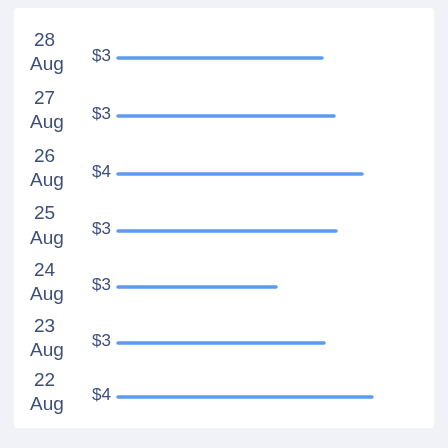[Figure (bar-chart): Daily prices]